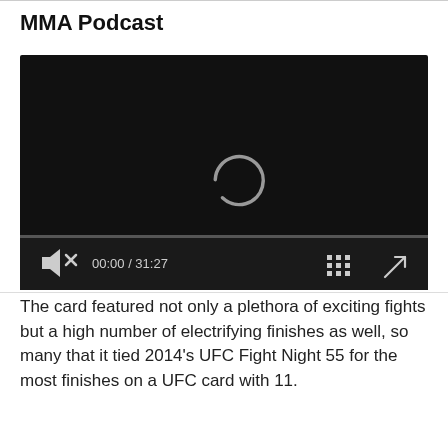MMA Podcast
[Figure (screenshot): An embedded video player with a black background showing a loading spinner. Controls display muted icon, time 00:00 / 31:27, grid/chapters icon, and fullscreen icon.]
The card featured not only a plethora of exciting fights but a high number of electrifying finishes as well, so many that it tied 2014’s UFC Fight Night 55 for the most finishes on a UFC card with 11.